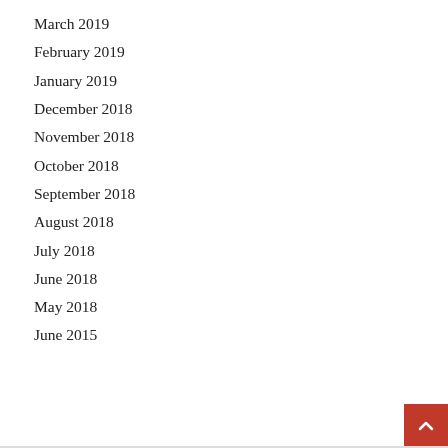March 2019
February 2019
January 2019
December 2018
November 2018
October 2018
September 2018
August 2018
July 2018
June 2018
May 2018
June 2015